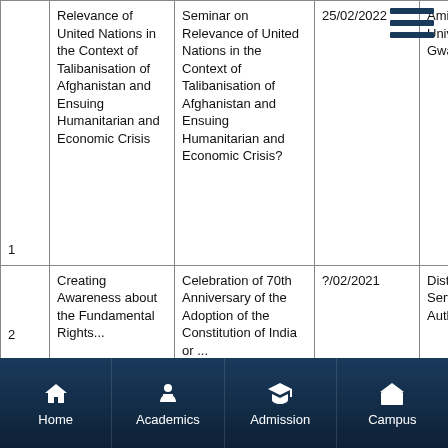|  | Title | Seminar/Event | Date | Venue |
| --- | --- | --- | --- | --- |
| 1 | Relevance of United Nations in the Context of Talibanisation of Afghanistan and Ensuing Humanitarian and Economic Crisis | Seminar on Relevance of United Nations in the Context of Talibanisation of Afghanistan and Ensuing Humanitarian and Economic Crisis? | 25/02/2022 | Amity University, Gwalior (MP) |
| 2 | Creating Awareness about the Fundamental Rights... | Celebration of 70th Anniversary of the Adoption of the Constitution of India or ... | ?/02/2021 | District Legal Services Authority, ... |
[Figure (screenshot): Mobile app bottom navigation bar with Home, Academics, Admission, Campus icons on dark navy background]